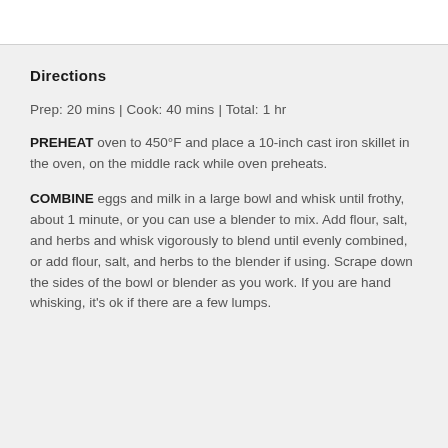Directions
Prep: 20 mins | Cook: 40 mins | Total: 1 hr
PREHEAT oven to 450°F and place a 10-inch cast iron skillet in the oven, on the middle rack while oven preheats.
COMBINE eggs and milk in a large bowl and whisk until frothy, about 1 minute, or you can use a blender to mix. Add flour, salt, and herbs and whisk vigorously to blend until evenly combined, or add flour, salt, and herbs to the blender if using. Scrape down the sides of the bowl or blender as you work. If you are hand whisking, it's ok if there are a few lumps.